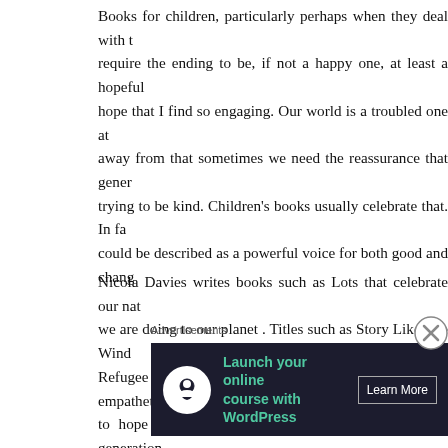Books for children, particularly perhaps when they deal with t... require the ending to be, if not a happy one, at least a hopeful... hope that I find so engaging. Our world is a troubled one at... away from that sometimes we need the reassurance that gener... trying to be kind. Children's books usually celebrate that. In fa... could be described as a powerful voice for both good and chang...
Nicola Davies writes books such as Lots that celebrate our nat... we are doing to our planet . Titles such as Story Like The Wind... Refugee by Kate Milner encourage readers to be empathetic ab... to hope that books such as these can help create a generation... kindness? Perhaps the feeling these books create is why we as a...
Earlier this year the Centre for Literacy in Primary Education... report which highlighted the lack of BAME characters and c... There are publishers such as Lantana Publishing and Knigh...
[Figure (screenshot): Advertisement banner: 'Launch your online course with WordPress' with a Learn More button on dark background, preceded by 'Advertisements' label. A close/dismiss button (X in circle) overlaps the top-right of the banner area.]